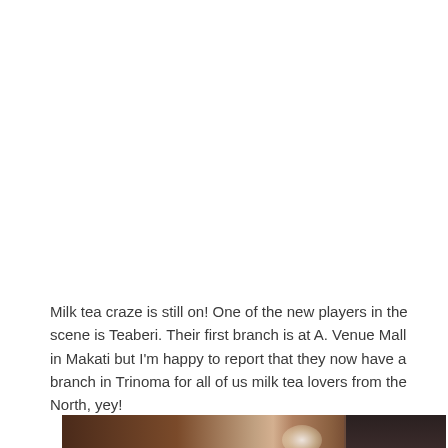Milk tea craze is still on! One of the new players in the scene is Teaberi. Their first branch is at A. Venue Mall in Makati but I'm happy to report that they now have a branch in Trinoma for all of us milk tea lovers from the North, yey!
[Figure (photo): A partial photo at the bottom of the page showing what appears to be a table or surface with an object on it, partially cropped. Dark tones with a light highlight area in the center and a darker section on the right.]